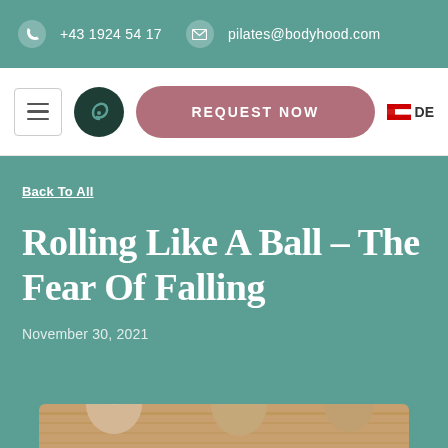+43 1924 54 17  pilates@bodyhood.com
[Figure (screenshot): Navigation bar with hamburger menu, logo spiral icon, 'REQUEST NOW' button in mauve/rose color, and DE language flag]
Back To All
Rolling Like A Ball – The Fear Of Falling
November 30, 2021
[Figure (photo): Photo of people doing pilates exercises, partially visible at the bottom of the page]